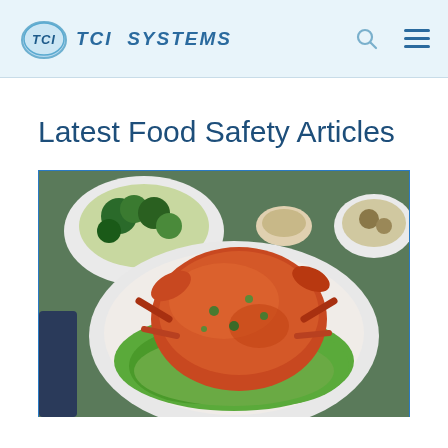TCI TCI SYSTEMS
Latest Food Safety Articles
[Figure (photo): Photo of a cooked crab dish on a white plate with lettuce, green vegetables and other dishes visible in the background, shot from above at a dining table.]